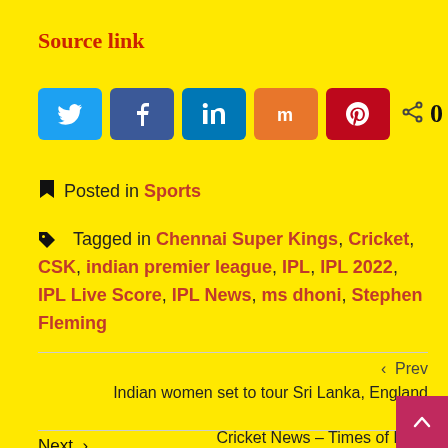Source link
[Figure (other): Social share buttons row: Twitter (blue), Facebook (dark blue), LinkedIn (blue), Mix (orange), Pinterest (red), and a share icon with 0 SHARES count]
Posted in Sports
Tagged in Chennai Super Kings, Cricket, CSK, indian premier league, IPL, IPL 2022, IPL Live Score, IPL News, ms dhoni, Stephen Fleming
‹ Prev
Indian women set to tour Sri Lanka, England | Cricket News – Times of India
Next ›